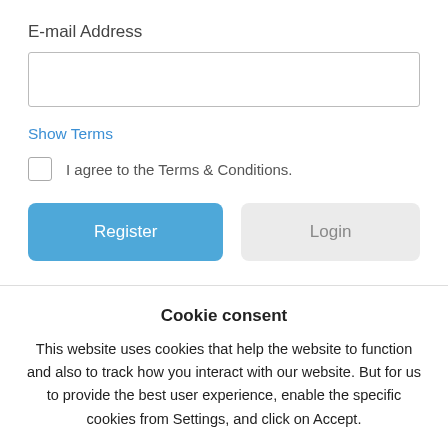E-mail Address
[Figure (screenshot): Empty email address text input field]
Show Terms
I agree to the Terms & Conditions.
[Figure (screenshot): Register button (blue) and Login button (gray)]
Cookie consent
This website uses cookies that help the website to function and also to track how you interact with our website. But for us to provide the best user experience, enable the specific cookies from Settings, and click on Accept.
[Figure (screenshot): Preferences, Reject All, and Accept All buttons]